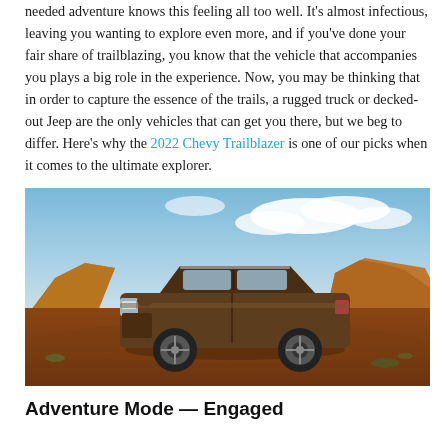needed adventure knows this feeling all too well. It's almost infectious, leaving you wanting to explore even more, and if you've done your fair share of trailblazing, you know that the vehicle that accompanies you plays a big role in the experience. Now, you may be thinking that in order to capture the essence of the trails, a rugged truck or decked-out Jeep are the only vehicles that can get you there, but we beg to differ. Here's why the 2022 Chevy Trailblazer is one of our picks when it comes to the ultimate explorer.
[Figure (photo): A bronze/brown 2022 Chevy Trailblazer SUV parked on a red dirt trail in a desert landscape with rocky cliffs and a blue sky with white clouds in the background.]
Adventure Mode — Engaged